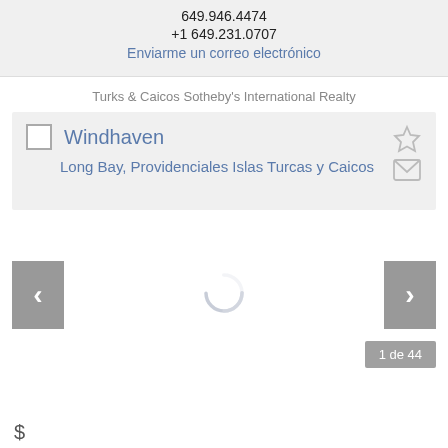Associate Broker, Real Estate Professional
649.946.4474
+1 649.231.0707
Enviarme un correo electrónico
Turks & Caicos Sotheby's International Realty
Windhaven
Long Bay, Providenciales Islas Turcas y Caicos
[Figure (screenshot): Slideshow navigation area with left and right arrow buttons (grey), a loading circle spinner in the center, and a page counter showing '1 de 44' in the bottom right.]
$